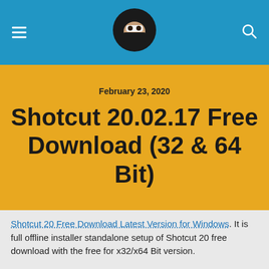Navigation header with menu, ninja logo, and search icon
February 23, 2020
Shotcut 20.02.17 Free Download (32 & 64 Bit)
Shotcut 20  Free Download Latest Version for Windows. It is full offline installer standalone setup of  Shotcut 20 free download with the free for x32/x64 Bit version.
Shotcut 20 Over All
Shotcut 20  is available as a free download from our software library. This is a simple and user-friendly video